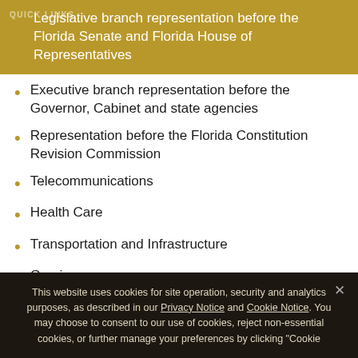QUICK LINKS
Legislative branch representation before the Florida Senate and Florida House of Representatives
Executive branch representation before the Governor, Cabinet and state agencies
Representation before the Florida Constitution Revision Commission
Telecommunications
Health Care
Transportation and Infrastructure
Gaming
Procurement
This website uses cookies for site operation, security and analytics purposes, as described in our Privacy Notice and Cookie Notice. You may choose to consent to our use of cookies, reject non-essential cookies, or further manage your preferences by clicking "Cookie